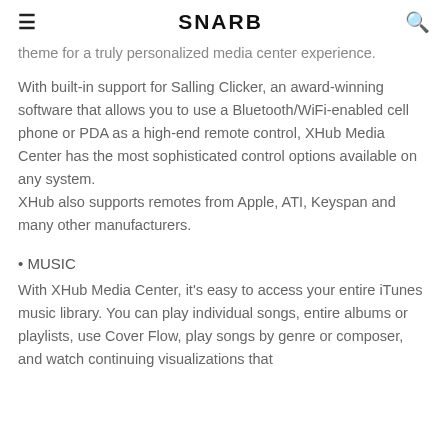≡  SNARB  🔍
theme for a truly personalized media center experience.
With built-in support for Salling Clicker, an award-winning software that allows you to use a Bluetooth/WiFi-enabled cell phone or PDA as a high-end remote control, XHub Media Center has the most sophisticated control options available on any system. XHub also supports remotes from Apple, ATI, Keyspan and many other manufacturers.
• MUSIC
With XHub Media Center, it's easy to access your entire iTunes music library. You can play individual songs, entire albums or playlists, use Cover Flow, play songs by genre or composer, and watch continuing visualizations that